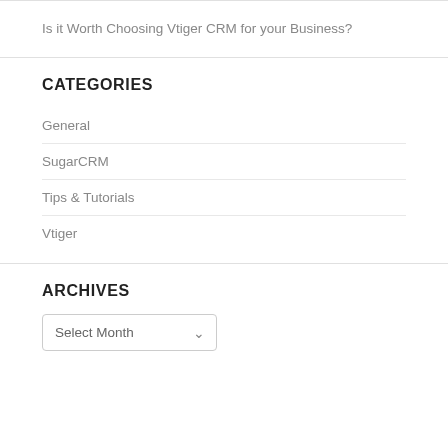Is it Worth Choosing Vtiger CRM for your Business?
CATEGORIES
General
SugarCRM
Tips & Tutorials
Vtiger
ARCHIVES
Select Month